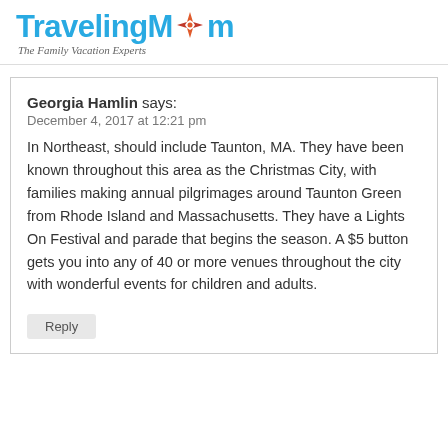TravelingMom — The Family Vacation Experts
Georgia Hamlin says:
December 4, 2017 at 12:21 pm
In Northeast, should include Taunton, MA. They have been known throughout this area as the Christmas City, with families making annual pilgrimages around Taunton Green from Rhode Island and Massachusetts. They have a Lights On Festival and parade that begins the season. A $5 button gets you into any of 40 or more venues throughout the city with wonderful events for children and adults.
Reply